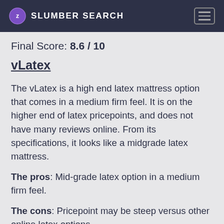SLUMBER SEARCH
Final Score: 8.6 / 10
vLatex
The vLatex is a high end latex mattress option that comes in a medium firm feel. It is on the higher end of latex pricepoints, and does not have many reviews online. From its specifications, it looks like a midgrade latex mattress.
The pros: Mid-grade latex option in a medium firm feel.
The cons: Pricepoint may be steep versus other online latex options